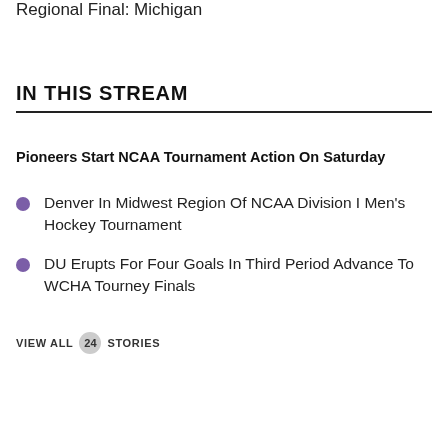Regional Final: Michigan
IN THIS STREAM
Pioneers Start NCAA Tournament Action On Saturday
Denver In Midwest Region Of NCAA Division I Men's Hockey Tournament
DU Erupts For Four Goals In Third Period Advance To WCHA Tourney Finals
VIEW ALL 24 STORIES